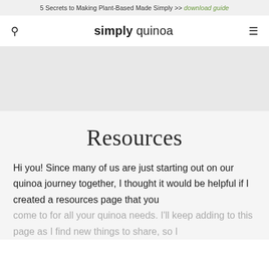5 Secrets to Making Plant-Based Made Simply >> download guide
simply quinoa
Resources
Hi you! Since many of us are just starting out on our quinoa journey together, I thought it would be helpful if I created a resources page that you come to for all your quinoa needs. I'll keep adding to this page as I find new things to share, so I